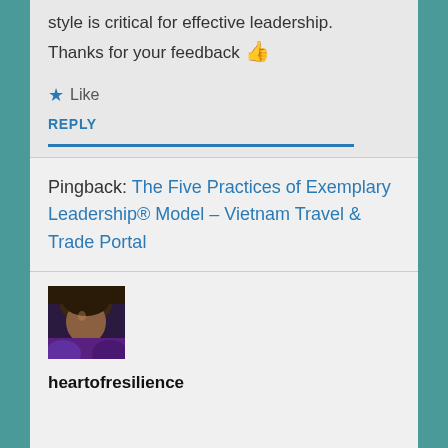style is critical for effective leadership. Thanks for your feedback 👍
★ Like
REPLY
Pingback: The Five Practices of Exemplary Leadership® Model – Vietnam Travel & Trade Portal
[Figure (photo): Avatar photo of heartofresilience user]
heartofresilience